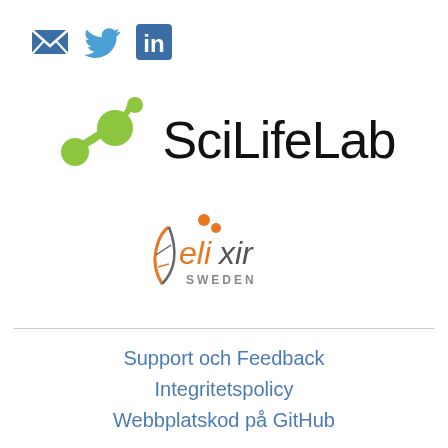[Figure (logo): Social media icons: email/envelope (blue), Twitter bird (blue), LinkedIn 'in' (blue square)]
[Figure (logo): SciLifeLab logo: green molecule/DNA dots graphic on left, 'SciLifeLab' text in black on right]
[Figure (logo): ELIXIR Sweden logo: orange and grey 'elixir' text with DNA helix, 'SWEDEN' subtitle in grey]
Support och Feedback
Integritetspolicy
Webbplatskod på GitHub